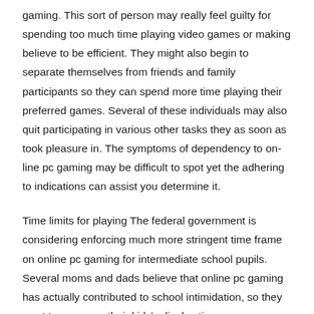gaming. This sort of person may really feel guilty for spending too much time playing video games or making believe to be efficient. They might also begin to separate themselves from friends and family participants so they can spend more time playing their preferred games. Several of these individuals may also quit participating in various other tasks they as soon as took pleasure in. The symptoms of dependency to on-line pc gaming may be difficult to spot yet the adhering to indications can assist you determine it.
Time limits for playing The federal government is considering enforcing much more stringent time frame on online pc gaming for intermediate school pupils. Several moms and dads believe that online pc gaming has actually contributed to school intimidation, so they want to suppress their kids's display time